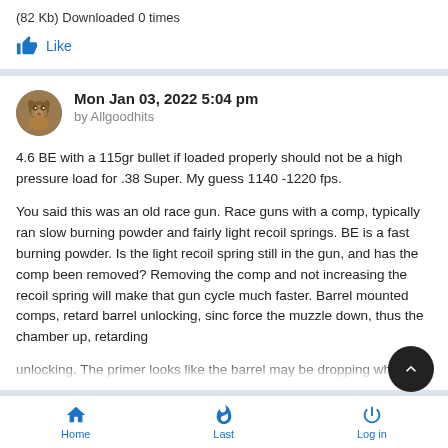(82 Kb) Downloaded 0 times
Like
Mon Jan 03, 2022 5:04 pm
by Allgoodhits
4.6 BE with a 115gr bullet if loaded properly should not be a high pressure load for .38 Super. My guess 1140 -1220 fps.
You said this was an old race gun. Race guns with a comp, typically ran slow burning powder and fairly light recoil springs. BE is a fast burning powder. Is the light recoil spring still in the gun, and has the comp been removed? Removing the comp and not increasing the recoil spring will make that gun cycle much faster. Barrel mounted comps, retard barrel unlocking, sinc force the muzzle down, thus the chamber up, retarding unlocking. The primer looks like the barrel may be dropping while
Home  Last  Log in